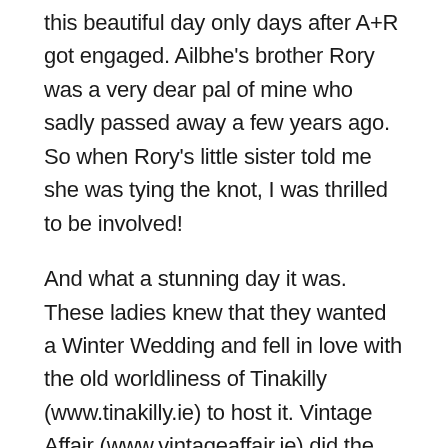this beautiful day only days after A+R got engaged. Ailbhe's brother Rory was a very dear pal of mine who sadly passed away a few years ago. So when Rory's little sister told me she was tying the knot, I was thrilled to be involved!
And what a stunning day it was. These ladies knew that they wanted a Winter Wedding and fell in love with the old worldliness of Tinakilly (www.tinakilly.ie) to host it. Vintage Affair (www.vintageaffair.ie) did the outrageously slick styling, flowers and gorgeous decorative touches around the